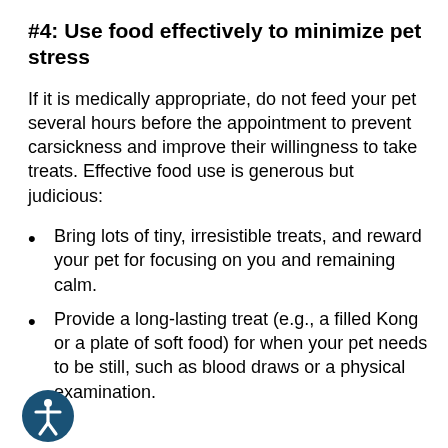#4: Use food effectively to minimize pet stress
If it is medically appropriate, do not feed your pet several hours before the appointment to prevent carsickness and improve their willingness to take treats. Effective food use is generous but judicious:
Bring lots of tiny, irresistible treats, and reward your pet for focusing on you and remaining calm.
Provide a long-lasting treat (e.g., a filled Kong or a plate of soft food) for when your pet needs to be still, such as blood draws or a physical examination.
[Figure (illustration): Accessibility icon: a circular dark blue badge with a white stick figure person with arms outstretched]